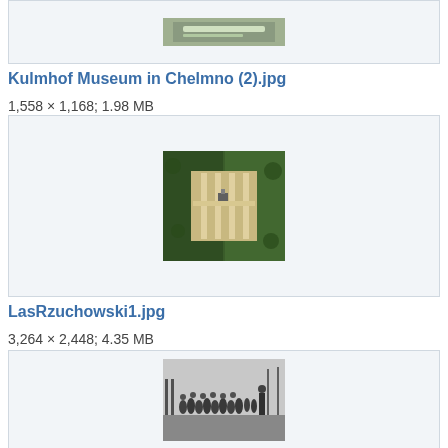[Figure (photo): Top portion of previous image box visible at top of page]
Kulmhof Museum in Chelmno (2).jpg
1,558 × 1,168; 1.98 MB
[Figure (photo): Aerial photograph of Las Rzuchowski forest area with cleared paths and memorial structures visible among dense green trees]
LasRzuchowski1.jpg
3,264 × 2,448; 4.35 MB
[Figure (photo): Black and white photograph showing a group of people standing in a line outdoors]